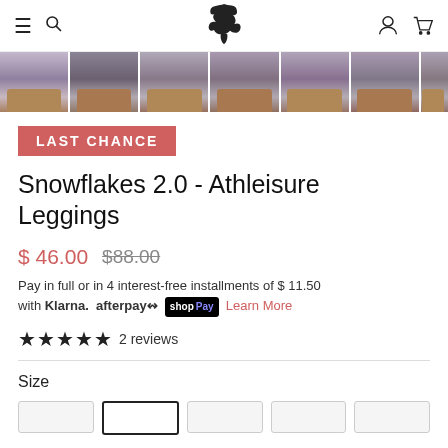Navigation bar with hamburger menu, search icon, bird logo, user icon, and cart icon
[Figure (photo): Thumbnail strip showing 7 product images of leggings with boots]
LAST CHANCE
Snowflakes 2.0 - Athleisure Leggings
$ 46.00  $88.00
Pay in full or in 4 interest-free installments of $ 11.50 with Klarna. afterpay shop Pay Learn More
★★★★★ 2 reviews
Size